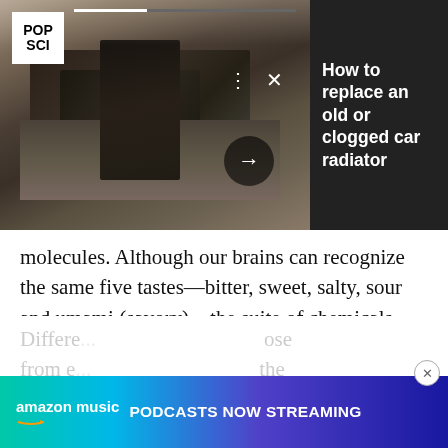[Figure (screenshot): Advertisement overlay showing a car engine under open hood with POP SCI logo, three-dot menu, X close button, right arrow navigation button, and a dark right panel with headline 'How to replace an old or clogged car radiator']
molecules. Although our brains can recognize the same five tastes—bitter, sweet, salty, sour and umami (savory)—the suite of chemicals that can trigger those signals varies from one person to the next. Alexander Bachmanov, a geneticist at Monell Chemical Senses Center in Philadelphia, says that humans carry a range of 20 to 40 genes dedicated to bitter taste receptors.
[Figure (screenshot): Amazon Music advertisement banner with gradient background (teal to purple): 'amazon music PODCASTS NOW STREAMING' with close button]
Differe... ...ose from e... ...the